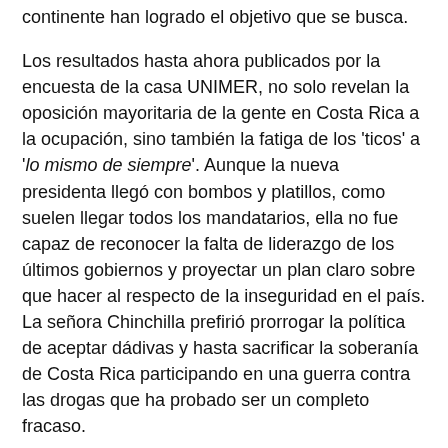continente han logrado el objetivo que se busca.
Los resultados hasta ahora publicados por la encuesta de la casa UNIMER, no solo revelan la oposición mayoritaria de la gente en Costa Rica a la ocupación, sino también la fatiga de los 'ticos' a 'lo mismo de siempre'. Aunque la nueva presidenta llegó con bombos y platillos, como suelen llegar todos los mandatarios, ella no fue capaz de reconocer la falta de liderazgo de los últimos gobiernos y proyectar un plan claro sobre que hacer al respecto de la inseguridad en el país. La señora Chinchilla prefirió prorrogar la política de aceptar dádivas y hasta sacrificar la soberanía de Costa Rica participando en una guerra contra las drogas que ha probado ser un completo fracaso.
Otra conclusión que se desprende de la encuesta es que